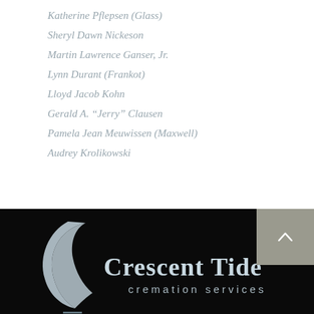Katherine Pflepsen (Glass)
Sheryl Dawn Nickeson
Martin Lawrence Ganser, Jr.
Lynn Durant (Frankot)
Lloyd Jacob Kohn
Gerald A. “Jerry” Clausen
Pamela Jean Meuwissen (Maxwell)
Audrey Krolikowski
[Figure (logo): Crescent Tide cremation services logo on black background, featuring a crescent moon with water reflection design in grey/white tones]